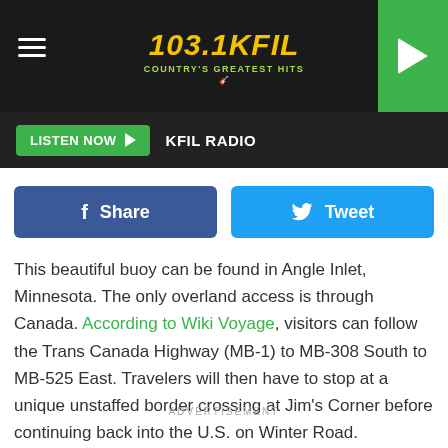103.1 KFIL – COUNTRY'S GREATEST HITS
LISTEN NOW  KFIL RADIO
Share  Tweet
This beautiful buoy can be found in Angle Inlet, Minnesota. The only overland access is through Canada. According to Wiki Voyage, visitors can follow the Trans Canada Highway (MB-1) to MB-308 South to MB-525 East. Travelers will then have to stop at a unique unstaffed border crossing at Jim's Corner before continuing back into the U.S. on Winter Road.
ADVERTISEMENT